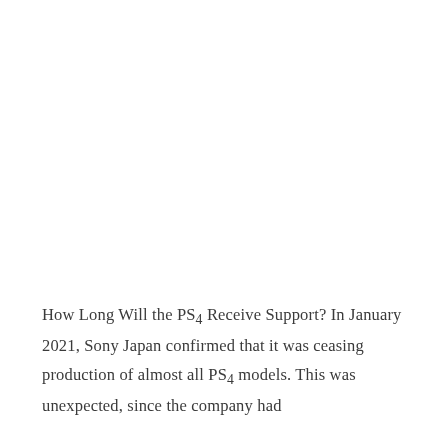How Long Will the PS4 Receive Support? In January 2021, Sony Japan confirmed that it was ceasing production of almost all PS4 models. This was unexpected, since the company had